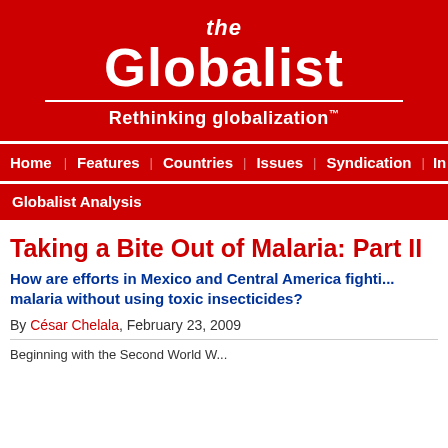[Figure (logo): The Globalist logo on red background with tagline 'Rethinking globalization™']
Home | Features | Countries | Issues | Syndication | In the
Globalist Analysis
Taking a Bite Out of Malaria: Part II
How are efforts in Mexico and Central America fighting malaria without using toxic insecticides?
By César Chelala, February 23, 2009
Beginning with the Second World W...